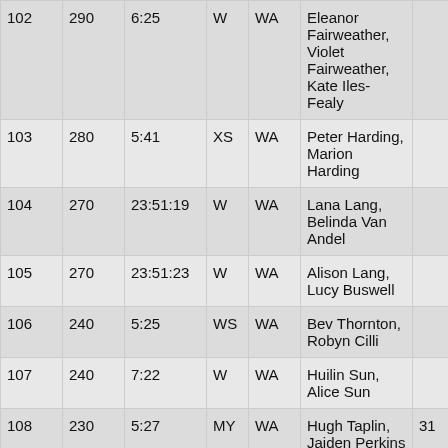| 102 | 290 | 6:25 | W | WA | Eleanor Fairweather, Violet Fairweather, Kate Iles-Fealy |  |
| 103 | 280 | 5:41 | XS | WA | Peter Harding, Marion Harding |  |
| 104 | 270 | 23:51:19 | W | WA | Lana Lang, Belinda Van Andel |  |
| 105 | 270 | 23:51:23 | W | WA | Alison Lang, Lucy Buswell |  |
| 106 | 240 | 5:25 | WS | WA | Bev Thornton, Robyn Cilli |  |
| 107 | 240 | 7:22 | W | WA | Huilin Sun, Alice Sun |  |
| 108 | 230 | 5:27 | MY | WA | Hugh Taplin, Jaiden Perkins | 31 |